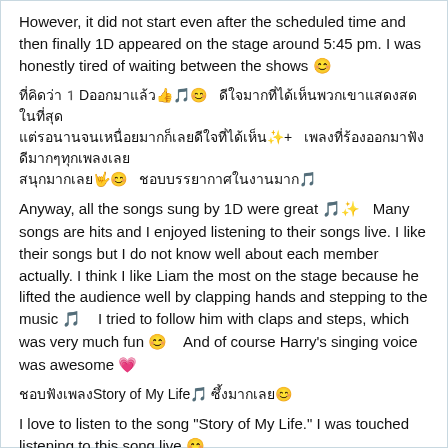However, it did not start even after the scheduled time and then finally 1D appeared on the stage around 5:45 pm. I was honestly tired of waiting between the shows 😊
ที่คิดว่า1Dออกมาแล้ว👍🎵😊   (Japanese/Thai text block with emoji)
Anyway, all the songs sung by 1D were great 🎵✨   Many songs are hits and I enjoyed listening to their songs live. I like their songs but I do not know well about each member actually. I think I like Liam the most on the stage because he lifted the audience well by clapping hands and stepping to the music 🎵    I tried to follow him with claps and steps, which was very much fun 😊    And of course Harry's singing voice was awesome 💗
ชอบฟังเพลงStory of My Life🎵 ซึ้งมากเลย😊
I love to listen to the song "Story of My Life." I was touched listening to this song live 😊
[Figure (screenshot): Video thumbnail showing 'One Direction - ...' with a play button, dark background]